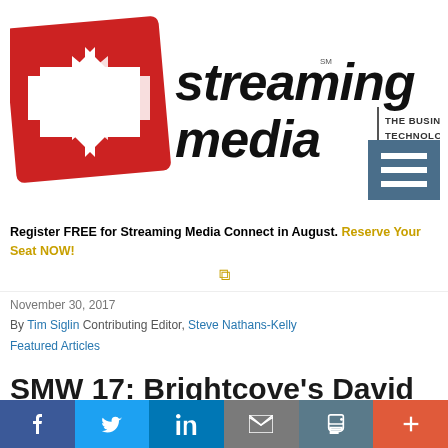[Figure (logo): Streaming Media logo — red and white arrow icon with bold italic 'streaming media' text and tagline 'THE BUSINESS & TECHNOLOGY OF ONLINE VIDEO']
Register FREE for Streaming Media Connect in August. Reserve Your Seat NOW!
November 30, 2017
By Tim Siglin Contributing Editor, Steve Nathans-Kelly
Featured Articles
SMW 17: Brightcove's David